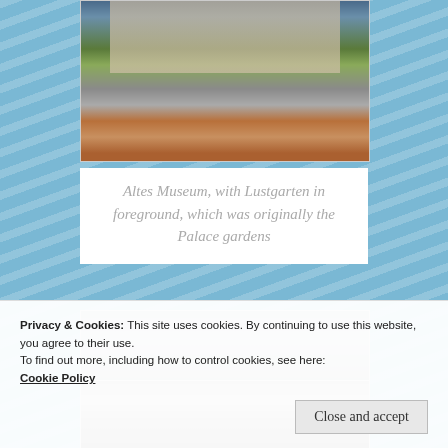[Figure (photo): Outdoor photograph of Altes Museum with people on lawn, person photographing with tablet/phone in foreground, red-jacketed person on right]
Altes Museum, with Lustgarten in foreground, which was originally the Palace gardens
[Figure (photo): Partial view of another outdoor photograph below the caption]
Privacy & Cookies: This site uses cookies. By continuing to use this website, you agree to their use.
To find out more, including how to control cookies, see here:
Cookie Policy
Close and accept